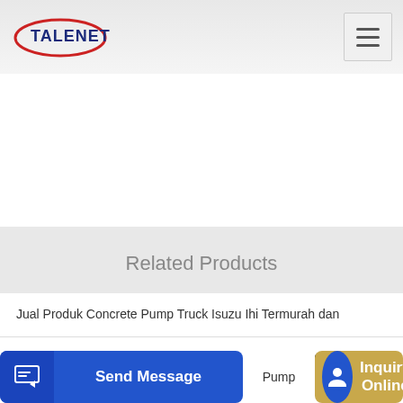[Figure (logo): Talenet company logo with red swoosh and blue text]
[Figure (other): Hamburger menu icon (three horizontal lines)]
Related Products
Jual Produk Concrete Pump Truck Isuzu Ihi Termurah dan
warm mix foamed MAC 200 Stationary Asphalt ✳ RMC Plant
Pump
Send Message
Inquiry Online